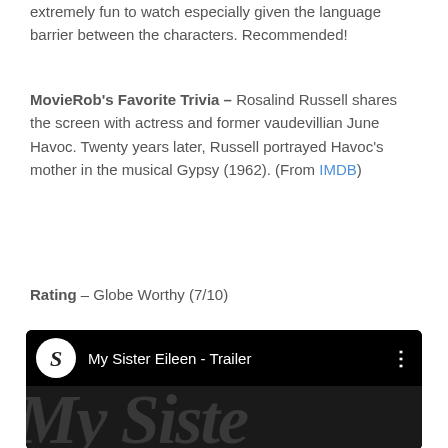extremely fun to watch especially given the language barrier between the characters. Recommended!
MovieRob's Favorite Trivia – Rosalind Russell shares the screen with actress and former vaudevillian June Havoc. Twenty years later, Russell portrayed Havoc's mother in the musical Gypsy (1962). (From IMDB)
Rating – Globe Worthy (7/10)
[Figure (screenshot): YouTube video thumbnail for 'My Sister Eileen - Trailer' with a channel icon showing a decorative letter S, video title text, and a dark background showing stylized 'My Siste' text]